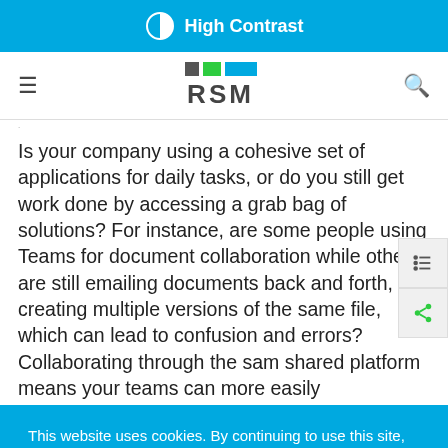High Contrast
[Figure (logo): RSM logo with colored squares and brand name]
Is your company using a cohesive set of applications for daily tasks, or do you still get work done by accessing a grab bag of solutions? For instance, are some people using Teams for document collaboration while others are still emailing documents back and forth, creating multiple versions of the same file, which can lead to confusion and errors? Collaborating through the same shared platform means your teams can more easily
This website uses cookies. By continuing to use this site, you are giving consent to cookies being used. For more information on cookies and how we use them, click here
Close